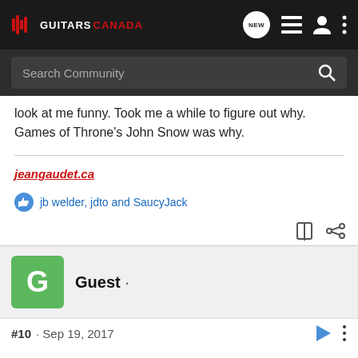Guitars Canada - Search Community
look at me funny. Took me a while to figure out why. Games of Throne's John Snow was why.
jeangaudet.ca
jb welder, jdto and SaucyJack
Guest ·
#10 · Sep 19, 2017